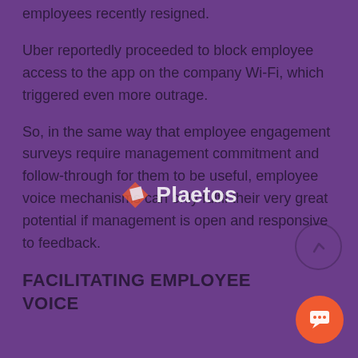employees recently resigned.
Uber reportedly proceeded to block employee access to the app on the company Wi-Fi, which triggered even more outrage.
So, in the same way that employee engagement surveys require management commitment and follow-through for them to be useful, employee voice mechanisms can only fulfil their very great potential if management is open and responsive to feedback.
FACILITATING EMPLOYEE VOICE